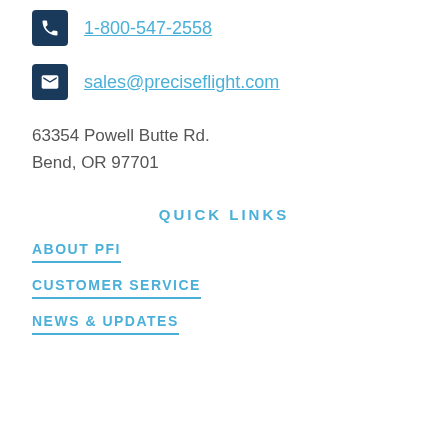1-800-547-2558
sales@preciseflight.com
63354 Powell Butte Rd.
Bend, OR 97701
QUICK LINKS
ABOUT PFI
CUSTOMER SERVICE
NEWS & UPDATES